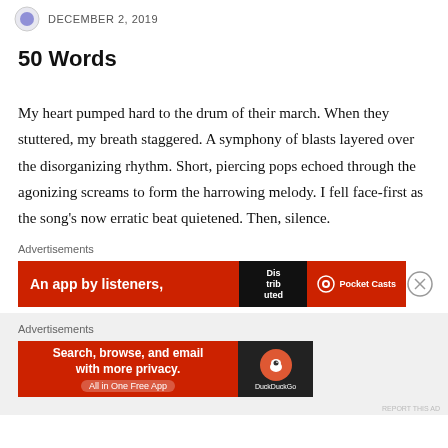DECEMBER 2, 2019
50 Words
My heart pumped hard to the drum of their march. When they stuttered, my breath staggered. A symphony of blasts layered over the disorganizing rhythm. Short, piercing pops echoed through the agonizing screams to form the harrowing melody. I fell face-first as the song's now erratic beat quietened. Then, silence.
Advertisements
[Figure (other): Pocket Casts advertisement banner: red background with text 'An app by listeners,' and podcast app imagery]
Advertisements
[Figure (other): DuckDuckGo advertisement: red background with text 'Search, browse, and email with more privacy. All in One Free App' and DuckDuckGo logo on dark background]